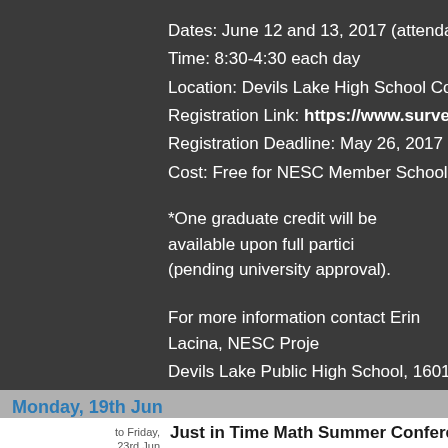Dates: June 12 and 13, 2017 (attendance at both days
Time: 8:30-4:30 each day
Location: Devils Lake High School Commons (1601 Co
Registration Link: https://www.surveymonkey.com/
Registration Deadline: May 26, 2017
Cost: Free for NESC Member Schools, $100/day for no
*One graduate credit will be available upon full partici (pending university approval).
For more information contact Erin Lacina, NESC Proje Erin.Lacina@nescnd.org .
Devils Lake Public High School, 1601 College Dr N, De
Monday, 19th Jun
to Friday, 23rd Jun   Just in Time Math Summer Conference